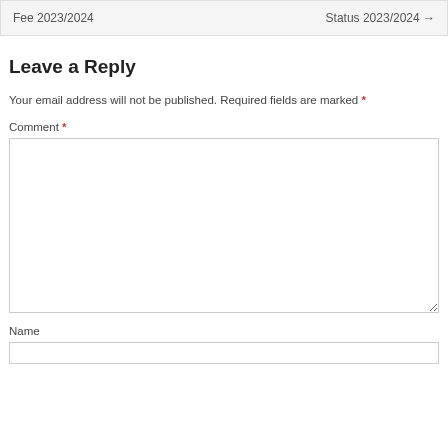Fee 2023/2024    Status 2023/2024 →
Leave a Reply
Your email address will not be published. Required fields are marked *
Comment *
Name